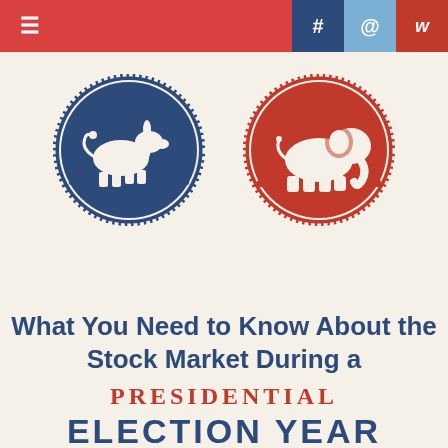≡ # @ W
[Figure (illustration): Two circular badge emblems side by side: left is a blue donkey (Democratic Party symbol) on a blue gear/cog-edged circle, right is a red elephant (Republican Party symbol) on a red gear/cog-edged circle, both on a cream background.]
What You Need to Know About the Stock Market During a PRESIDENTIAL ELECTION YEAR